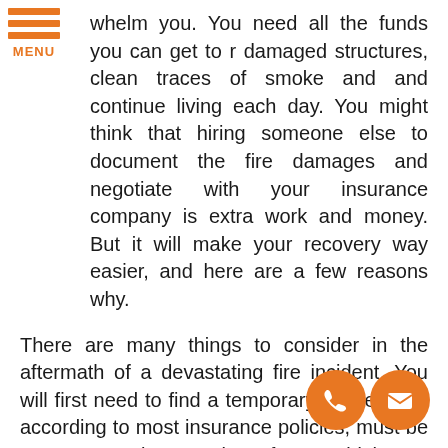[Figure (other): Hamburger menu icon with three orange horizontal bars and MENU label in orange]
whelm you. You need all the funds you can get to r damaged structures, clean traces of smoke and and continue living each day. You might think that hiring someone else to document the fire damages and negotiate with your insurance company is extra work and money. But it will make your recovery way easier, and here are a few reasons why.
There are many things to consider in the aftermath of a devastating fire incident. You will first need to find a temporary shelter that, according to most insurance policies, must be at an approximate value of your old home. You will also need to distinguish which properties must be replaced, repaired, and renovated and which ones can be just cleaned.
With a certified professional claiming adjuster, the efforts you will have to pull to have a good insurance payout will be down to a minimum. Our seasoned claims adjusters are fully equipped to know each detail of your insurance policy, making sure that all the terms and conditions are met. If,
[Figure (other): Two orange circular contact icons: phone and email]